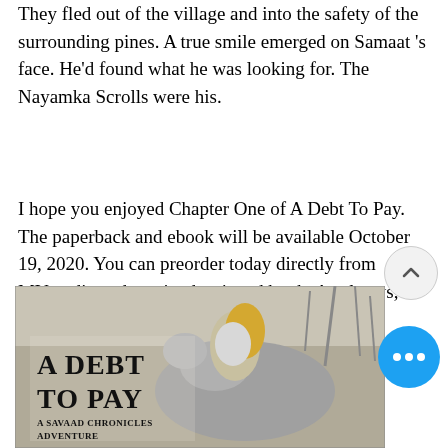They fled out of the village and into the safety of the surrounding pines. A true smile emerged on Samaat 's face. He'd found what he was looking for. The Nayamka Scrolls were his.
I hope you enjoyed Chapter One of A Debt To Pay. The paperback and ebook will be available October 19, 2020. You can preorder today directly from MVmedia and received a signed book. As always, thank you for your patience and your support.
[Figure (illustration): Book cover for 'A Debt To Pay: A Savaad Chronicles Adventure' showing an armored warrior on horseback with dramatic illustration style. A circular scroll-up button and a blue 'more' button with three dots are overlaid on the right side.]